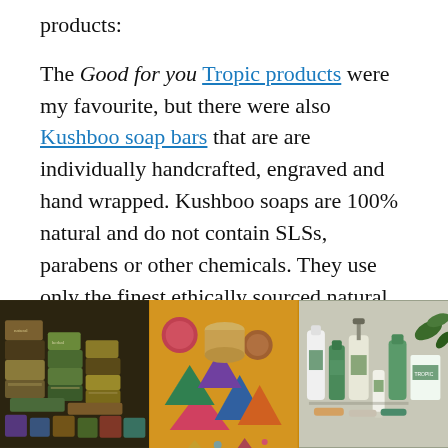products:
The Good for you Tropic products were my favourite, but there were also Kushboo soap bars that are are individually handcrafted, engraved and hand wrapped. Kushboo soaps are 100% natural and do not contain SLSs, parabens or other chemicals. They use only the finest ethically sourced natural plant based ingredients. Their soaps contain natural fragrances using pure essential oils, and look good enough to eat!
[Figure (photo): Three photos side by side showing soap products: left image shows stacked handmade soap bars in various colors, middle image shows geometric shaped soaps in bright colors on yellow background, right image shows Tropic beauty products including bottles and tubes with green packaging.]